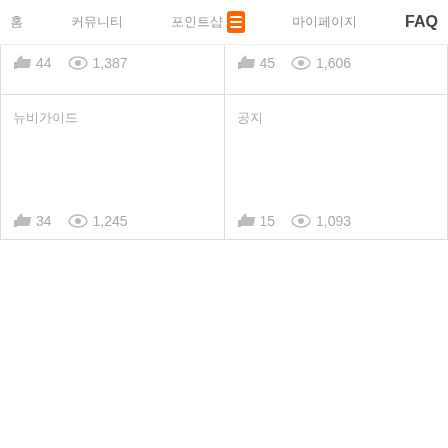홈 커뮤니티 포인트샵 (active) 마이페이지 FAQ
👍 44  👁 1,387
👍 45  👁 1,606
카드제목 (card top-left)
댓글쓰기
👍 34  👁 1,245
👍 15  👁 1,093